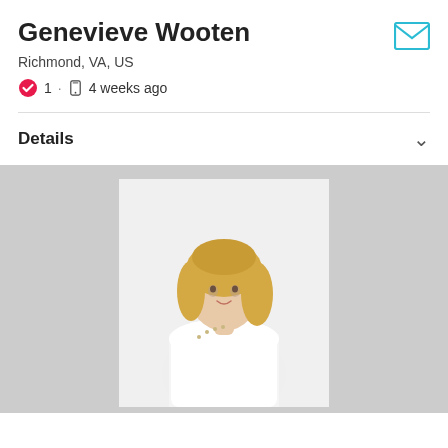Genevieve Wooten
Richmond, VA, US
1 · 4 weeks ago
Details
[Figure (photo): Profile photo of a blonde woman in a white off-shoulder top, posing against a white/light background]